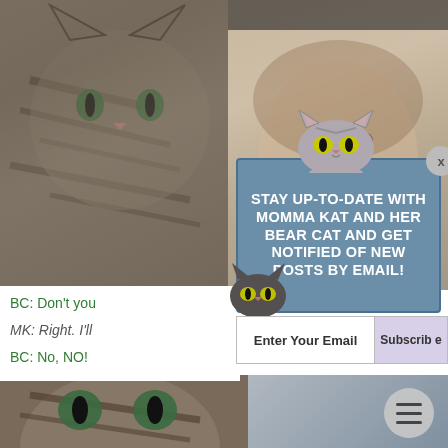[Figure (photo): Photo collage: tabby cat on left side in carrier/chair, young girl on right side, and another tabby cat in bottom half. Overlaid with a subscription popup dialog.]
BC: Don't you
MK: Right. I'll
BC: No, NO!
[Figure (infographic): Popup overlay with cartoon cat emoji at top and bottom-left, blue background box with white bold text reading 'STAY UP-TO-DATE WITH MOMMA KAT AND HER BEAR CAT AND GET NOTIFIED OF NEW POSTS BY EMAIL!', close X button, and email subscription input with Subscribe button.]